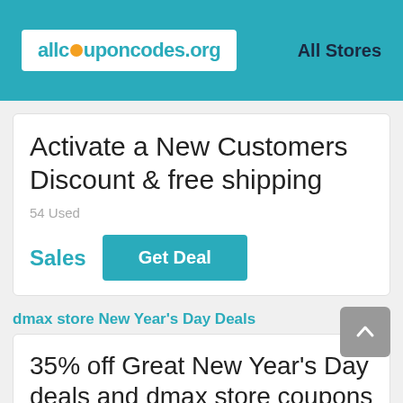allcouponcodes.org   All Stores
Activate a New Customers Discount & free shipping
54 Used
Sales   Get Deal
dmax store New Year's Day Deals
35% off Great New Year's Day deals and dmax store coupons